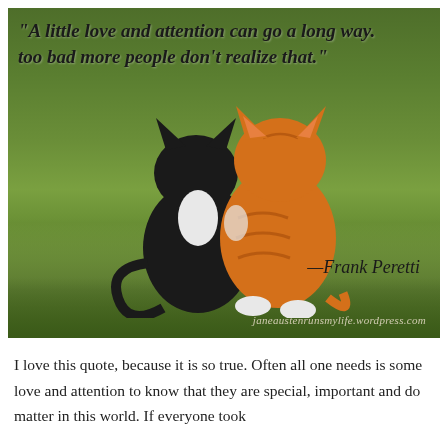[Figure (photo): Photo of two kittens sitting together on grass, one black and one orange tabby, seen from behind with their backs to the camera. Overlaid with a quote in italic text: '"A little love and attention can go a long way. too bad more people don't realize that."' and attribution '—Frank Peretti', and watermark 'janeaustenrunsmylife.wordpress.com']
I love this quote, because it is so true. Often all one needs is some love and attention to know that they are special, important and do matter in this world. If everyone took